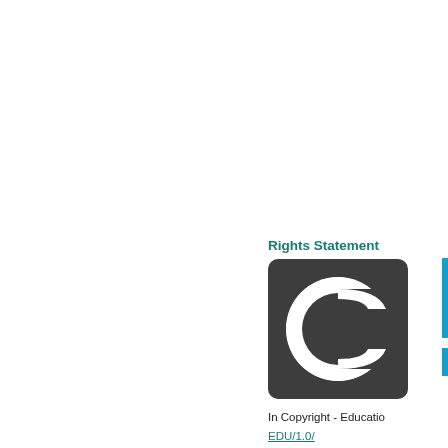Rights Statement
[Figure (logo): Copyright symbol logo — dark grey rounded square with a large white C ring icon inside, representing an In Copyright rights statement]
In Copyright - Educatio
EDU/1.0/